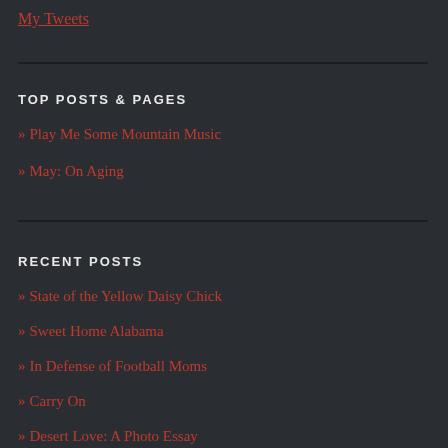My Tweets
TOP POSTS & PAGES
» Play Me Some Mountain Music
» May: On Aging
RECENT POSTS
» State of the Yellow Daisy Chick
» Sweet Home Alabama
» In Defense of Football Moms
» Carry On
» Desert Love: A Photo Essay